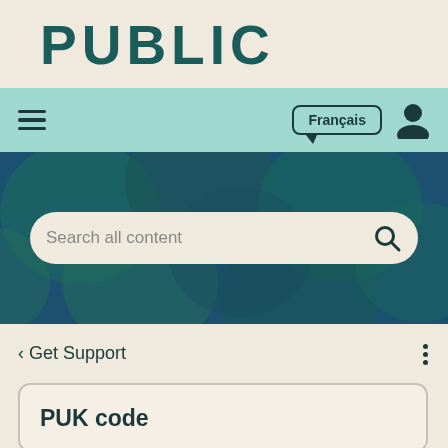PUBLIC
[Figure (screenshot): Navigation bar with hamburger menu icon on the left, Français language toggle button in center-right, and user account icon on the right, on a teal/mint background]
[Figure (screenshot): Hero banner with dark teal background featuring decorative overlapping circles/ovals pattern, containing a search bar with placeholder text 'Search all content' and a magnifying glass icon]
‹ Get Support
PUK code